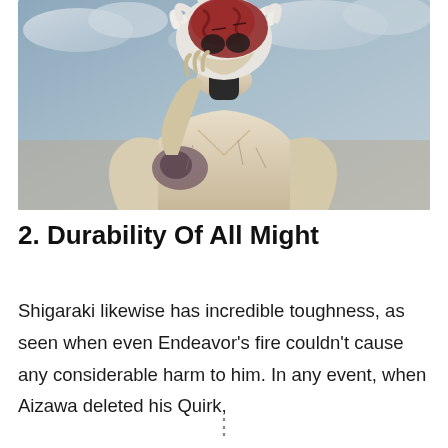[Figure (illustration): Anime illustration of Shigaraki in a muscular, damaged form with white hair, a red wounded head, pale body with veins/cracks visible, against a cloudy sky background.]
2. Durability Of All Might
Shigaraki likewise has incredible toughness, as seen when even Endeavor’s fire couldn’t cause any considerable harm to him. In any event, when Aizawa deleted his Quirk,